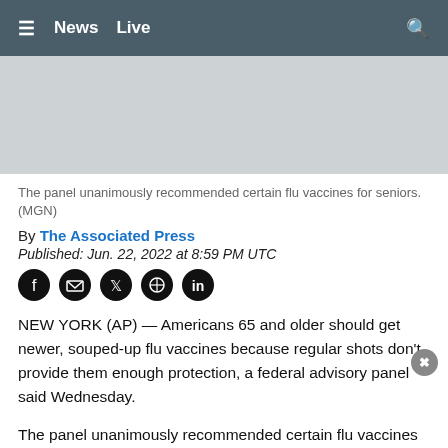≡  News  Live  🔍
[Figure (photo): Gray placeholder image block for news article photo]
The panel unanimously recommended certain flu vaccines for seniors.  (MGN)
By The Associated Press
Published: Jun. 22, 2022 at 8:59 PM UTC
[Figure (infographic): Social share icons: Facebook, Email, Twitter, Pinterest, LinkedIn]
NEW YORK (AP) — Americans 65 and older should get newer, souped-up flu vaccines because regular shots don't provide them enough protection, a federal advisory panel said Wednesday.
The panel unanimously recommended certain flu vaccines